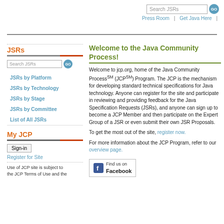Search JSRs | GO | Press Room | Get Java Here |
JSRs
Search JSRs
JSRs by Platform
JSRs by Technology
JSRs by Stage
JSRs by Committee
List of All JSRs
My JCP
Sign-in
Register for Site
Use of JCP site is subject to the JCP Terms of Use and the
Welcome to the Java Community Process!
Welcome to jcp.org, home of the Java Community Processˢᴹ (JCPˢᴹ) Program. The JCP is the mechanism for developing standard technical specifications for Java technology. Anyone can register for the site and participate in reviewing and providing feedback for the Java Specification Requests (JSRs), and anyone can sign up to become a JCP Member and then participate on the Expert Group of a JSR or even submit their own JSR Proposals.
To get the most out of the site, register now.
For more information about the JCP Program, refer to our overview page.
[Figure (logo): Find us on Facebook button/badge with Facebook icon]